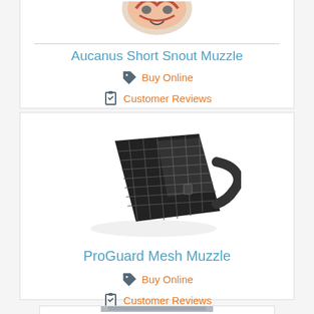[Figure (photo): Partial view of Aucanus Short Snout Muzzle product image (cropped at top)]
Aucanus Short Snout Muzzle
Buy Online
Customer Reviews
[Figure (photo): ProGuard Mesh Muzzle product image — black mesh fabric muzzle with strap]
ProGuard Mesh Muzzle
Buy Online
Customer Reviews
[Figure (photo): Partial view of a third product at the bottom of the page (cropped)]